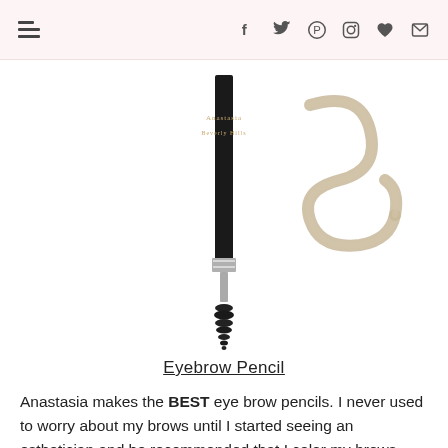Navigation header with menu icon and social icons: f (Facebook), Twitter bird, Pinterest, Instagram, heart, envelope
[Figure (photo): Anastasia Beverly Hills eyebrow pencil with spoolie brush end, shown vertically, alongside a swirl swatch of the product color in light blonde/taupe]
Eyebrow Pencil
Anastasia makes the BEST eye brow pencils. I never used to worry about my brows until I started seeing an esthetician and he recommended that I color my brows since they were pretty light. Then I got my make up done